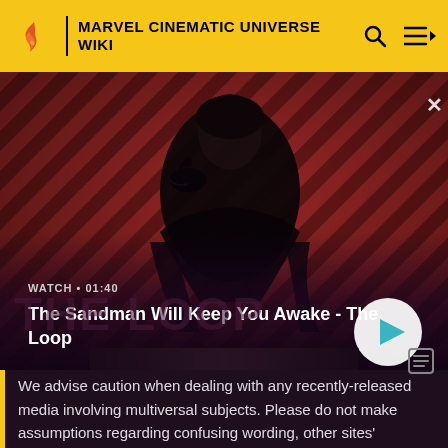MARVEL CINEMATIC UNIVERSE WIKI
[Figure (screenshot): Video thumbnail for 'The Sandman Will Keep You Awake - The Loop' showing a dark figure in a black coat with a raven on shoulder against a red and black diagonal stripe background. Duration shown: 01:40. Play button visible.]
We advise caution when dealing with any recently-released media involving multiversal subjects. Please do not make assumptions regarding confusing wording, other sites' speculation, and people's headcanon around the internet.